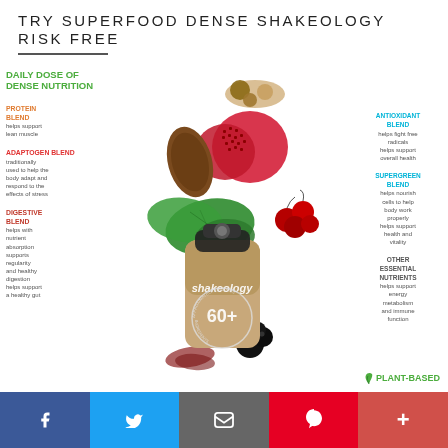TRY SUPERFOOD DENSE SHAKEOLOGY RISK FREE
[Figure (infographic): Shakeology infographic showing a shaker bottle surrounded by superfoods (pomegranate, cocoa, spinach, peppers, berries, nuts, seeds) with blend labels on left and right sides and '60+ INGREDIENTS' text on the bottle. Text reads: DAILY DOSE OF DENSE NUTRITION. Left: PROTEIN BLEND - helps support lean muscle; ADAPTOGEN BLEND - traditionally used to help the body adapt and respond to the effects of stress; DIGESTIVE BLEND - helps with nutrient absorption, supports regularity and healthy digestion, helps support a healthy gut. Right: ANTIOXIDANT BLEND - helps fight free radicals, helps support overall health; SUPERGREEN BLEND - helps nourish cells to help body work properly, helps support health and vitality; OTHER ESSENTIAL NUTRIENTS - helps support energy metabolism and immune function. Bottom right: PLANT-BASED]
f  Twitter  Email  Pinterest  +